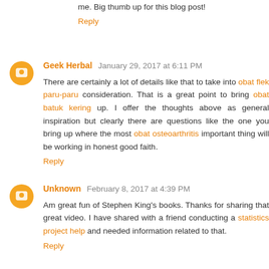me. Big thumb up for this blog post!
Reply
Geek Herbal  January 29, 2017 at 6:11 PM
There are certainly a lot of details like that to take into obat flek paru-paru consideration. That is a great point to bring obat batuk kering up. I offer the thoughts above as general inspiration but clearly there are questions like the one you bring up where the most obat osteoarthritis important thing will be working in honest good faith.
Reply
Unknown  February 8, 2017 at 4:39 PM
Am great fun of Stephen King's books. Thanks for sharing that great video. I have shared with a friend conducting a statistics project help and needed information related to that.
Reply